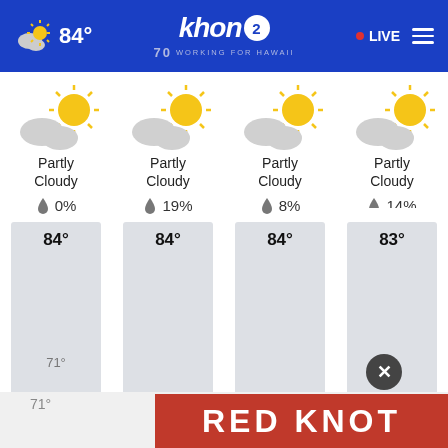84° | khon2 WORKING FOR HAWAII | LIVE
[Figure (infographic): Four-column weather forecast showing partly cloudy icons, precipitation percentages, and temperature bars. Column 1: Partly Cloudy, 0%, 84° high, 71° low. Column 2: Partly Cloudy, 19%, 84° high. Column 3: Partly Cloudy, 8%, 84° high. Column 4: Partly Cloudy, 14%, 83° high.]
RED KNOT